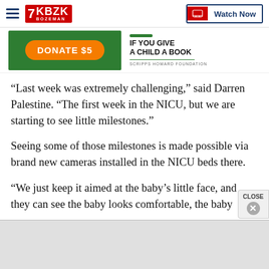KBZK BOZEMAN — Watch Now
[Figure (screenshot): Donate $5 banner with green background and orange button, alongside 'If You Give a Child a Book' Scripps Howard Foundation logo]
“Last week was extremely challenging,” said Darren Palestine. “The first week in the NICU, but we are starting to see little milestones.”
Seeing some of those milestones is made possible via brand new cameras installed in the NICU beds there.
“We just keep it aimed at the baby’s little face, and they can see the baby looks comfortable, the baby